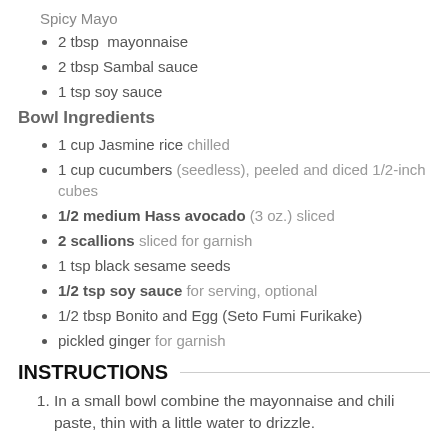Spicy Mayo
2 tbsp  mayonnaise
2 tbsp Sambal sauce
1 tsp soy sauce
Bowl Ingredients
1 cup Jasmine rice chilled
1 cup cucumbers (seedless), peeled and diced 1/2-inch cubes
1/2 medium Hass avocado (3 oz.) sliced
2 scallions sliced for garnish
1 tsp black sesame seeds
1/2 tsp soy sauce for serving, optional
1/2 tbsp Bonito and Egg (Seto Fumi Furikake)
pickled ginger for garnish
INSTRUCTIONS
In a small bowl combine the mayonnaise and chili paste, thin with a little water to drizzle.